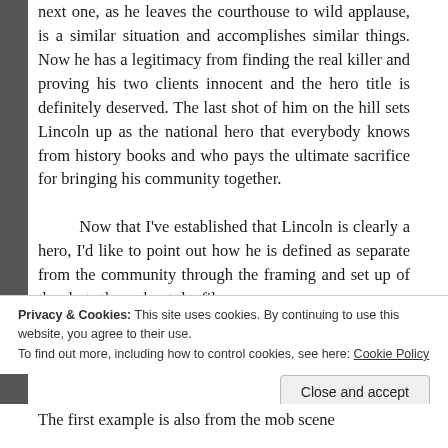next one, as he leaves the courthouse to wild applause, is a similar situation and accomplishes similar things. Now he has a legitimacy from finding the real killer and proving his two clients innocent and the hero title is definitely deserved. The last shot of him on the hill sets Lincoln up as the national hero that everybody knows from history books and who pays the ultimate sacrifice for bringing his community together.

Now that I've established that Lincoln is clearly a hero, I'd like to point out how he is defined as separate from the community through the framing and set up of the shots throughout the film.
Privacy & Cookies: This site uses cookies. By continuing to use this website, you agree to their use.
To find out more, including how to control cookies, see here: Cookie Policy
Close and accept
The first example is also from the mob scene